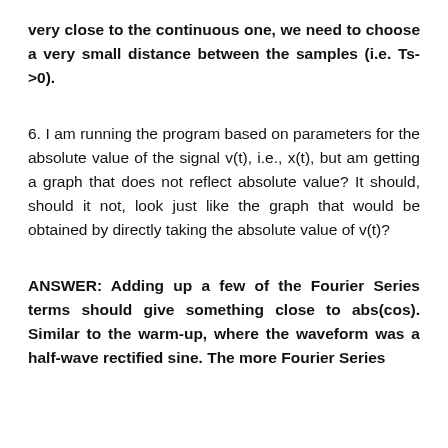very close to the continuous one, we need to choose a very small distance between the samples (i.e. Ts->0).
6. I am running the program based on parameters for the absolute value of the signal v(t), i.e., x(t), but am getting a graph that does not reflect absolute value? It should, should it not, look just like the graph that would be obtained by directly taking the absolute value of v(t)?
ANSWER: Adding up a few of the Fourier Series terms should give something close to abs(cos). Similar to the warm-up, where the waveform was a half-wave rectified sine. The more Fourier Series